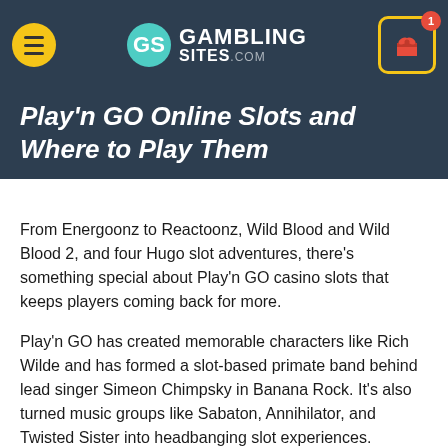Gambling Sites .com
Play'n GO Online Slots and Where to Play Them
From Energoonz to Reactoonz, Wild Blood and Wild Blood 2, and four Hugo slot adventures, there's something special about Play'n GO casino slots that keeps players coming back for more.
Play'n GO has created memorable characters like Rich Wilde and has formed a slot-based primate band behind lead singer Simeon Chimpsky in Banana Rock. It's also turned music groups like Sabaton, Annihilator, and Twisted Sister into headbanging slot experiences.
Here's our guide to Play'n GO online slots, starting with details of the top real money casinos that carry them.